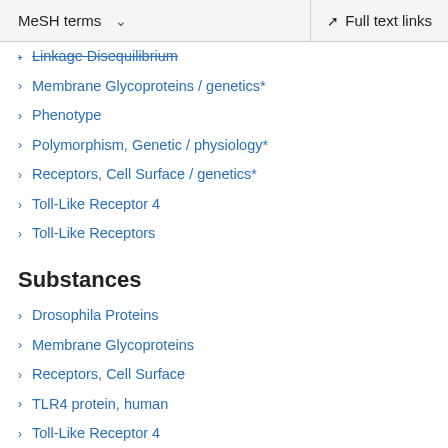MeSH terms   Full text links
Linkage Disequilibrium
Membrane Glycoproteins / genetics*
Phenotype
Polymorphism, Genetic / physiology*
Receptors, Cell Surface / genetics*
Toll-Like Receptor 4
Toll-Like Receptors
Substances
Drosophila Proteins
Membrane Glycoproteins
Receptors, Cell Surface
TLR4 protein, human
Toll-Like Receptor 4
Toll-Like Receptors